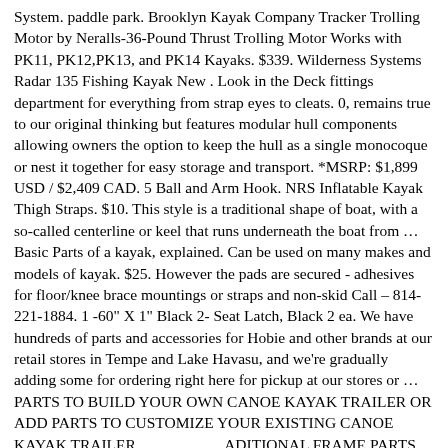System. paddle park. Brooklyn Kayak Company Tracker Trolling Motor by Neralls-36-Pound Thrust Trolling Motor Works with PK11, PK12,PK13, and PK14 Kayaks. $339. Wilderness Systems Radar 135 Fishing Kayak New . Look in the Deck fittings department for everything from strap eyes to cleats. 0, remains true to our original thinking but features modular hull components allowing owners the option to keep the hull as a single monocoque or nest it together for easy storage and transport. *MSRP: $1,899 USD / $2,409 CAD. 5 Ball and Arm Hook. NRS Inflatable Kayak Thigh Straps. $10. This style is a traditional shape of boat, with a so-called centerline or keel that runs underneath the boat from … Basic Parts of a kayak, explained. Can be used on many makes and models of kayak. $25. However the pads are secured - adhesives for floor/knee brace mountings or straps and non-skid Call – 814-221-1884. 1 -60" X 1" Black 2- Seat Latch, Black 2 ea. We have hundreds of parts and accessories for Hobie and other brands at our retail stores in Tempe and Lake Havasu, and we're gradually adding some for ordering right here for pickup at our stores or … PARTS TO BUILD YOUR OWN CANOE KAYAK TRAILER OR ADD PARTS TO CUSTOMIZE YOUR EXISTING CANOE KAYAK TRAILER _____ _____ ADITIONAL FRAME PARTS FOR CANOE KAYAK TRAILERS: UPRIGHTS #M0007GL - … PHOTO: Eddyline Kayaks Recreational Kayak Gear. Saco decks have a solid support structure built in, and they can support a deck bag. The Saco deck is made of 600 denier polyurethane coated